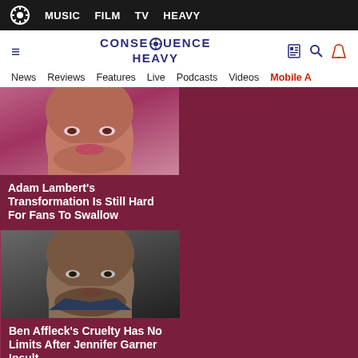MUSIC  FILM  TV  HEAVY
CONSEQUENCE HEAVY — News  Reviews  Features  Live  Podcasts  Videos  Mobile App
[Figure (photo): Close-up of Adam Lambert's face]
Adam Lambert's Transformation Is Still Hard For Fans To Swallow
[Figure (photo): Close-up of Ben Affleck's face]
Ben Affleck's Cruelty Has No Limits After Jennifer Garner Insult
[Figure (photo): Close-up of Luke Perry's face with Advertisement label]
Luke Perry's True Cause Of Death Is Shock No Secret…
[Figure (photo): Close-up of Anne Heche's face]
Heche Was Under The Influence Of Very Hard Drugs During Crash